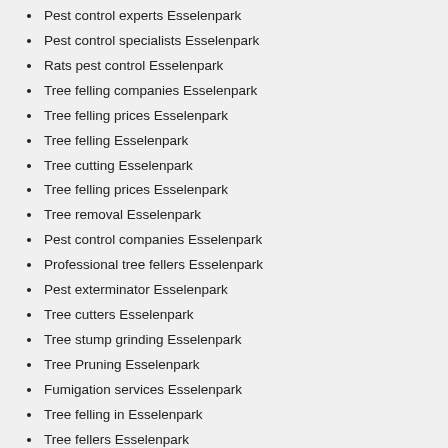Pest control experts Esselenpark
Pest control specialists Esselenpark
Rats pest control Esselenpark
Tree felling companies Esselenpark
Tree felling prices Esselenpark
Tree felling Esselenpark
Tree cutting Esselenpark
Tree felling prices Esselenpark
Tree removal Esselenpark
Pest control companies Esselenpark
Professional tree fellers Esselenpark
Pest exterminator Esselenpark
Tree cutters Esselenpark
Tree stump grinding Esselenpark
Tree Pruning Esselenpark
Fumigation services Esselenpark
Tree felling in Esselenpark
Tree fellers Esselenpark
Pest control rats Esselenpark
Tree felling cost Esselenpark
Pest control company Esselenpark
Pest control Esselenpark
Treefelling Esselenpark
Fly control Esselenpark
Spider pest control Esselenpark
Our consultants know how to get you the best treefelling companies that